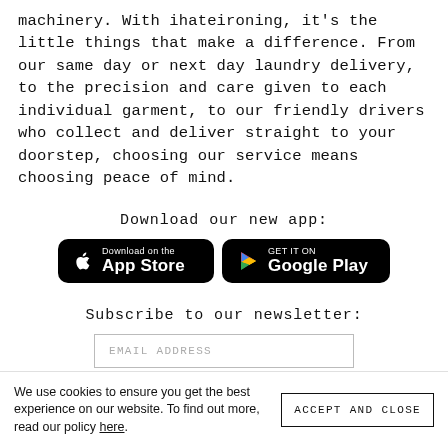machinery. With ihateironing, it's the little things that make a difference. From our same day or next day laundry delivery, to the precision and care given to each individual garment, to our friendly drivers who collect and deliver straight to your doorstep, choosing our service means choosing peace of mind.
Download our new app:
[Figure (other): Two app store download buttons side by side: 'Download on the App Store' (Apple) and 'GET IT ON Google Play' (Google), both with black rounded rectangle backgrounds.]
Subscribe to our newsletter:
EMAIL ADDRESS
We use cookies to ensure you get the best experience on our website. To find out more, read our policy here.
ACCEPT AND CLOSE